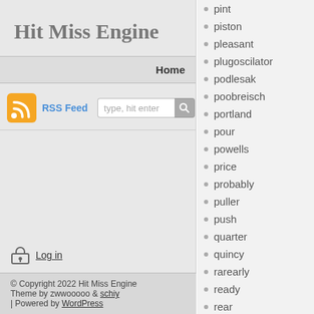Hit Miss Engine
Home
RSS Feed  type, hit enter
Log in
© Copyright 2022 Hit Miss Engine
Theme by zwwooooo & schiy
| Powered by WordPress
pint
piston
pleasant
plugoscilator
podlesak
poobreisch
portland
pour
powells
price
probably
puller
push
quarter
quincy
rarearly
ready
rear
recast
redeem